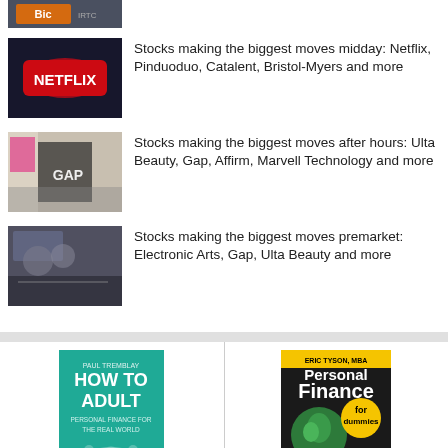[Figure (photo): Partially visible thumbnail at top of page, showing a sign with 'Big' text]
Stocks making the biggest moves midday: Netflix, Pinduoduo, Catalent, Bristol-Myers and more
[Figure (photo): Netflix logo on a device]
Stocks making the biggest moves after hours: Ulta Beauty, Gap, Affirm, Marvell Technology and more
[Figure (photo): Gap store exterior with people walking]
Stocks making the biggest moves premarket: Electronic Arts, Gap, Ulta Beauty and more
[Figure (photo): Crowd scene outdoors, people with signs]
[Figure (photo): Book cover: How To Adult - Personal Finance for the Real World]
[Figure (photo): Book cover: Personal Finance for Dummies]